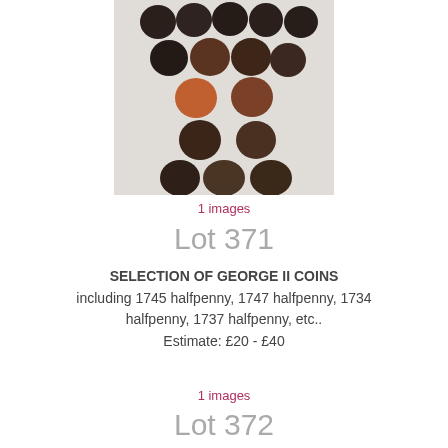[Figure (photo): A photograph of a collection of George II coins arranged in a triangular/pyramid pattern on a light grey/white background. The coins are dark brown/copper colored and of varying sizes.]
1 images
Lot 371
SELECTION OF GEORGE II COINS including 1745 halfpenny, 1747 halfpenny, 1734 halfpenny, 1737 halfpenny, etc.. Estimate: £20 - £40
1 images
Lot 372